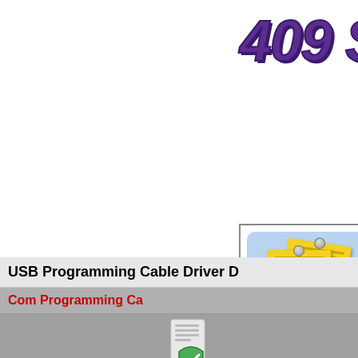409 S
[Figure (illustration): Two yellow sticky notes with pins and text lines on a blue rounded rectangle background, representing a shipping address notes icon]
Shipping Address N
USB Programming Cable Driver D
Com Programming Ca
[Figure (illustration): Windows installer/setup icon with green checkmark shield at bottom]